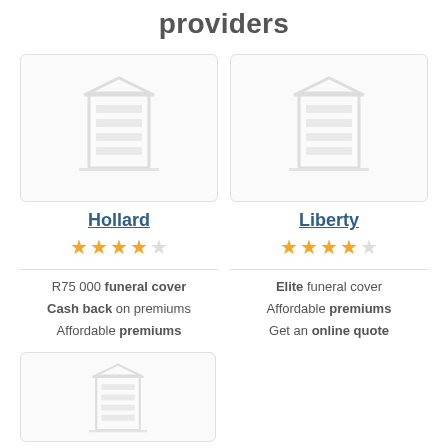providers
[Figure (illustration): Grey building/office icon for Hollard provider card]
[Figure (illustration): Grey building/office icon for Liberty provider card]
Hollard
Liberty
3.5 star rating (Hollard)
3.5 star rating (Liberty)
R75 000 funeral cover
Cash back on premiums
Affordable premiums
Elite funeral cover
Affordable premiums
Get an online quote
[Figure (illustration): Grey building/office icon for third provider card (partial, bottom)]